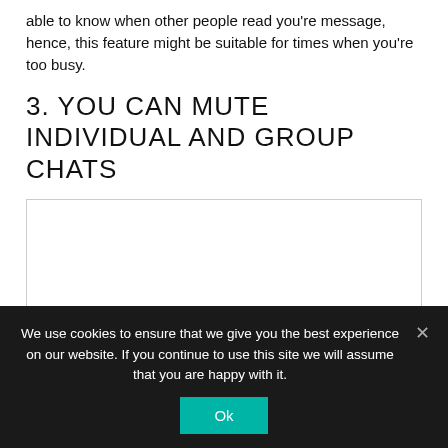able to know when other people read you're message, hence, this feature might be suitable for times when you're too busy.
3. YOU CAN MUTE INDIVIDUAL AND GROUP CHATS
[Figure (photo): Image placeholder with a border, white background — likely a screenshot of a muted chat interface]
We use cookies to ensure that we give you the best experience on our website. If you continue to use this site we will assume that you are happy with it.